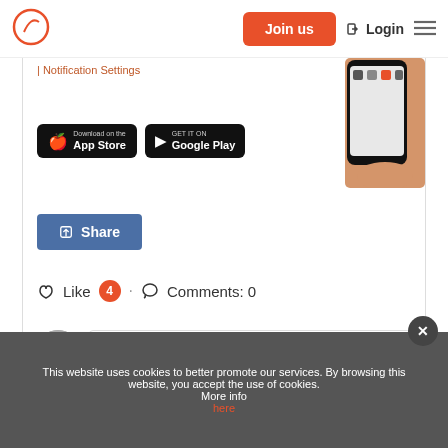Join us | Login ≡
| Notification Settings
[Figure (photo): Hand holding a smartphone showing app icons]
[Figure (logo): Download on the App Store badge]
[Figure (logo): GET IT ON Google Play badge]
Share
Like 4 · Comments: 0
Add comment...
This website uses cookies to better promote our services. By browsing this website, you accept the use of cookies. More info here